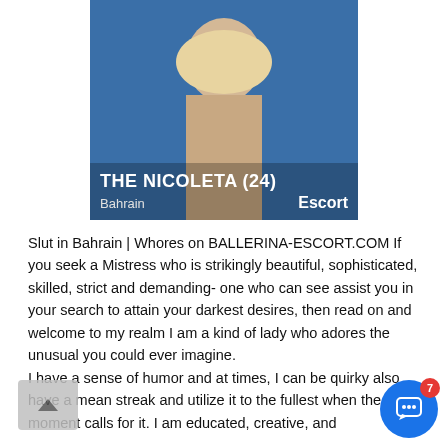[Figure (photo): Profile photo of a woman with blonde hair against a blue background, partially cropped. Overlay text reads 'THE NICOLETA (24)' and 'Bahrain  Escort']
Slut in Bahrain | Whores on BALLERINA-ESCORT.COM If you seek a Mistress who is strikingly beautiful, sophisticated, skilled, strict and demanding- one who can see assist you in your search to attain your darkest desires, then read on and welcome to my realm I am a kind of lady who adores the unusual you could ever imagine.
I have a sense of humor and at times, I can be quirky also have a mean streak and utilize it to the fullest when the moment calls for it. I am educated, creative, and